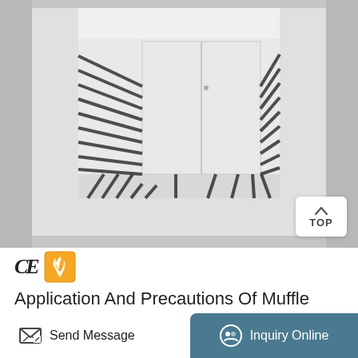[Figure (photo): Interior view of a muffle furnace showing white ceramic insulation walls with black heating element grooves/slots on the left, right, and bottom walls, and a white metal back panel with a small hole. A 'TOP' button/badge is visible in the lower right corner of the image. CE certification mark and Alibaba gold supplier badge are shown below the photo.]
Application And Precautions Of Muffle Furnace
Send Message
Inquiry Online